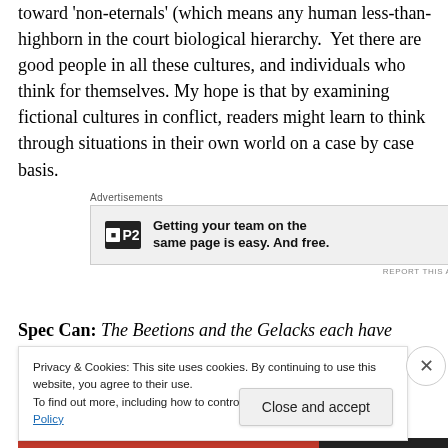toward 'non-eternals' (which means any human less-than-highborn in the court biological hierarchy. Yet there are good people in all these cultures, and individuals who think for themselves. My hope is that by examining fictional cultures in conflict, readers might learn to think through situations in their own world on a case by case basis.
[Figure (other): Advertisement banner for P2 service with text 'Getting your team on the same page is easy. And free.']
Spec Can: The Beetions and the Gelacks each have
Privacy & Cookies: This site uses cookies. By continuing to use this website, you agree to their use. To find out more, including how to control cookies, see here: Cookie Policy
Close and accept